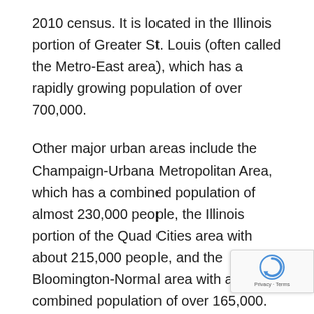2010 census. It is located in the Illinois portion of Greater St. Louis (often called the Metro-East area), which has a rapidly growing population of over 700,000.
Other major urban areas include the Champaign-Urbana Metropolitan Area, which has a combined population of almost 230,000 people, the Illinois portion of the Quad Cities area with about 215,000 people, and the Bloomington-Normal area with a combined population of over 165,000.
The official language of Illinois is English, although between 1923 and 1969, state law gave official status to "the American language". Nearly 80% people in Illinois speak English natively, and most of